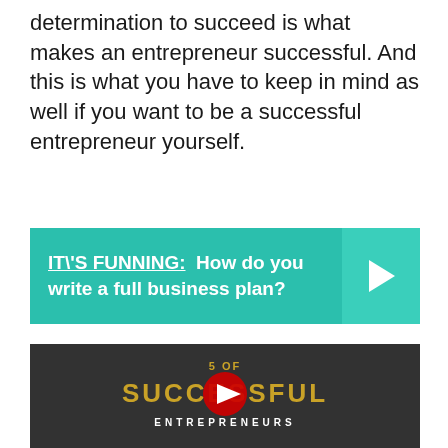determination to succeed is what makes an entrepreneur successful. And this is what you have to keep in mind as well if you want to be a successful entrepreneur yourself.
[Figure (infographic): Teal banner with text 'IT\'S FUNNING: How do you write a full business plan?' and a right-arrow chevron on the right side]
[Figure (screenshot): Dark video thumbnail showing office background with text 'SUCCESSFUL ENTREPRENEURS' in gold letters and a YouTube play button overlay]